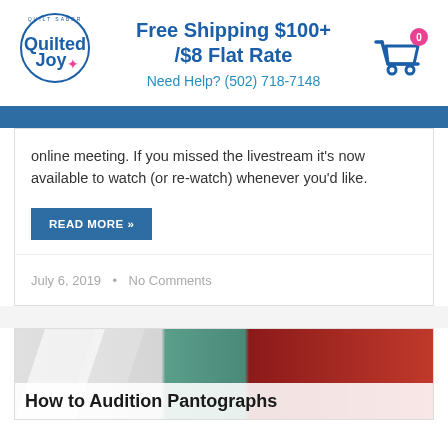Free Shipping $100+ /$8 Flat Rate
Need Help? (502) 718-7148
online meeting. If you missed the livestream it’s now available to watch (or re-watch) whenever you’d like.
READ MORE »
July 6, 2019  •  No Comments
[Figure (photo): Photo of quilting materials including fabric and thread spools]
How to Audition Pantographs